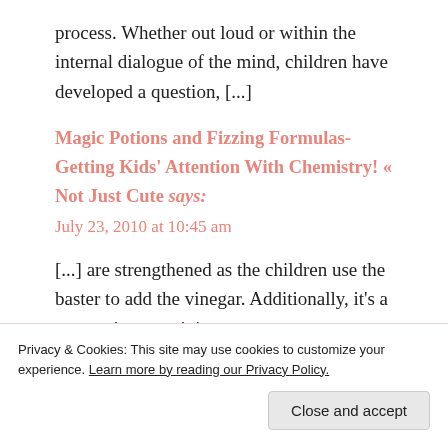process. Whether out loud or within the internal dialogue of the mind, children have developed a question, [...]
Magic Potions and Fizzing Formulas- Getting Kids' Attention With Chemistry! « Not Just Cute says:
July 23, 2010 at 10:45 am
[...] are strengthened as the children use the baster to add the vinegar. Additionally, it's a great science activity
Privacy & Cookies: This site may use cookies to customize your experience. Learn more by reading our Privacy Policy.
Close and accept